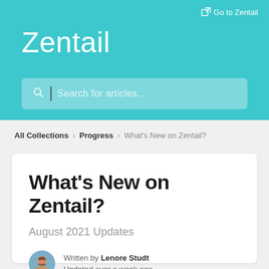Go to Zentail
Zentail
Search for articles...
All Collections > Progress > What's New on Zentail?
What's New on Zentail?
August 2021 Updates
Written by Lenore Studt
Updated over a week ago